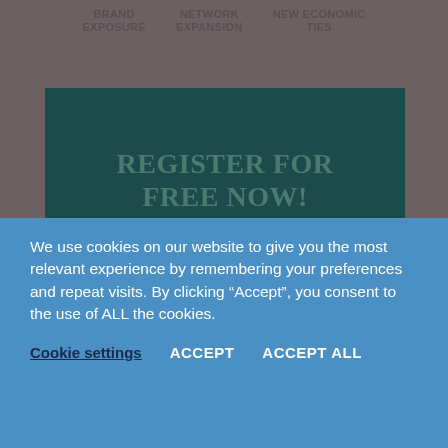BRAND EXPOSURE   NETWORK EXPANSION   NEW ECONOMIC TIES
[Figure (infographic): Dark teal box with large text: REGISTER FOR FREE NOW! www.hermesexpo.com]
[Figure (infographic): Dark teal ribbon banner with text: AVAILABLE NOW by William Planes, with a red bar partially visible at bottom]
We use cookies on our website to give you the most relevant experience by remembering your preferences and repeat visits. By clicking “Accept”, you consent to the use of ALL the cookies.
Cookie settings   ACCEPT   ACCEPT ALL